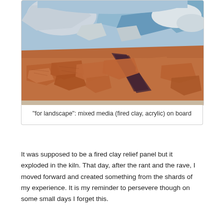[Figure (photo): A mixed media artwork titled 'for landscape' made of fired clay shards and acrylic paint on board. The upper portion shows blue and white painted clay pieces suggesting sky and clouds, while the lower portion shows terracotta-brown clay shards arranged to suggest a landscape or ground, with a dark purple/black streak running diagonally.]
"for landscape": mixed media (fired clay, acrylic) on board
It was supposed to be a fired clay relief panel but it exploded in the kiln. That day, after the rant and the rave, I moved forward and created something from the shards of my experience. It is my reminder to persevere though on some small days I forget this.